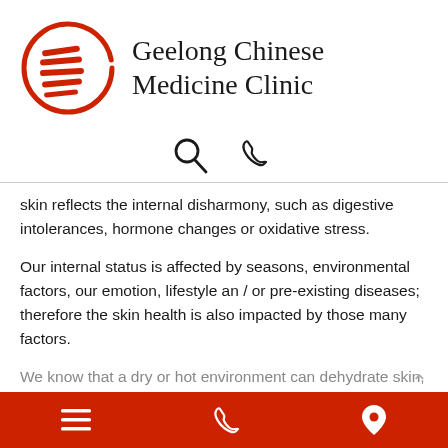[Figure (logo): Geelong Chinese Medicine Clinic logo: red circle with horizontal brush strokes inside, and clinic name text to the right]
[Figure (other): Search icon (magnifying glass) and phone/call icon in a row]
skin reflects the internal disharmony, such as digestive intolerances, hormone changes or oxidative stress.
Our internal status is affected by seasons, environmental factors, our emotion, lifestyle an / or pre-existing diseases; therefore the skin health is also impacted by those many factors.
We know that a dry or hot environment can dehydrate skin,
≡  📞  📍